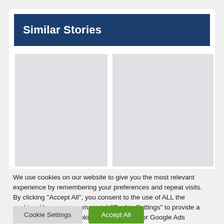Similar Stories
[Figure (illustration): Left gray placeholder image card]
[Figure (illustration): Right gray placeholder image card]
We use cookies on our website to give you the most relevant experience by remembering your preferences and repeat visits. By clicking “Accept All”, you consent to the use of ALL the cookies. However, you may visit “Cookie Settings” to provide a controlled consent. Cookies are also used for Google Ads personalisation. See more on our Privacy page here.
Cookie Settings
Accept All